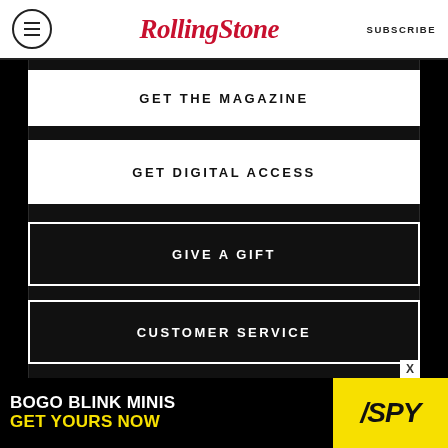[Figure (logo): Rolling Stone magazine logo with hamburger menu icon and SUBSCRIBE text in header]
GET THE MAGAZINE
GET DIGITAL ACCESS
GIVE A GIFT
CUSTOMER SERVICE
ROLLING STONE ∨
LEGAL ∨
[Figure (screenshot): Advertisement banner: BOGO BLINK MINIS GET YOURS NOW with SPY logo on yellow background]